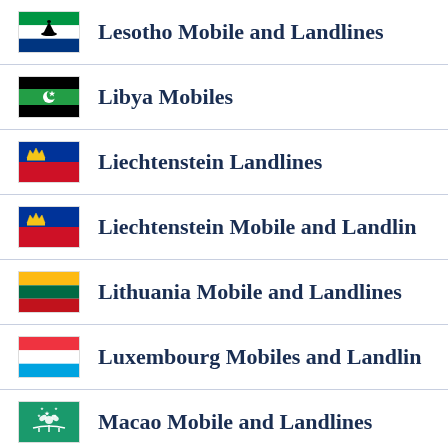Lesotho Mobile and Landlines
Libya Mobiles
Liechtenstein Landlines
Liechtenstein Mobile and Landlines
Lithuania Mobile and Landlines
Luxembourg Mobiles and Landlines
Macao Mobile and Landlines
Macedonia Landlines
Macedonia Mobile and Landlines